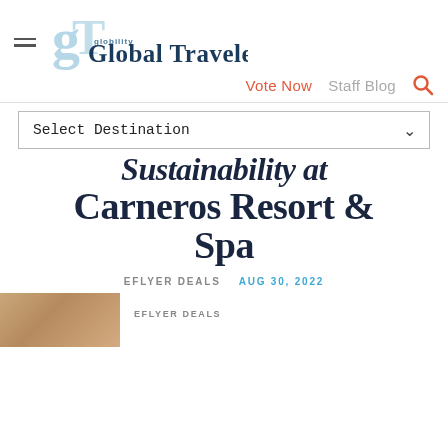[Figure (logo): Global Traveler magazine logo with stylized GT monogram in light blue and 'Global Traveler' text in dark navy/teal]
Vote Now   Staff Blog 🔍
Select Destination
Sustainability at Carneros Resort & Spa
EFLYER DEALS   AUG 30, 2022
EFLYER DEALS